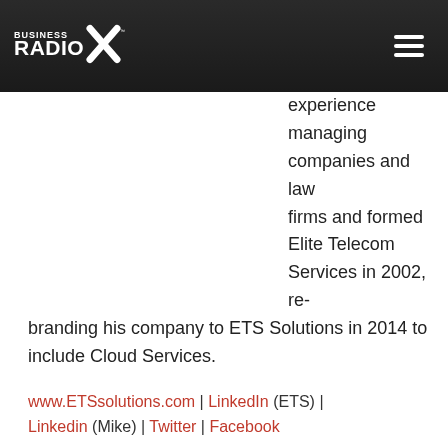Business Radio X
experience managing companies and law firms and formed Elite Telecom Services in 2002, re-branding his company to ETS Solutions in 2014 to include Cloud Services.
www.ETSsolutions.com | LinkedIn (ETS) | Linkedin (Mike) | Twitter | Facebook